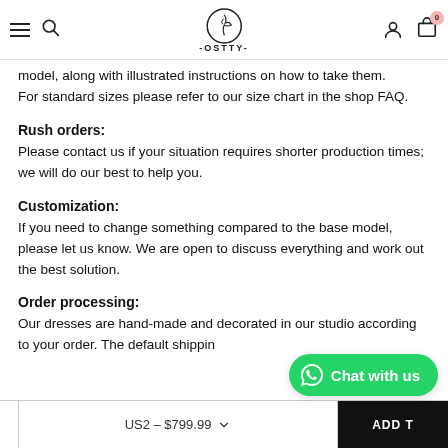OSTTY — navigation bar with hamburger menu, search, logo, user icon, cart (0)
model, along with illustrated instructions on how to take them. For standard sizes please refer to our size chart in the shop FAQ.
Rush orders:
Please contact us if your situation requires shorter production times; we will do our best to help you.
Customization:
If you need to change something compared to the base model, please let us know. We are open to discuss everything and work out the best solution.
Order processing:
Our dresses are hand-made and decorated in our studio according to your order. The default shippin
US2 – $799.99   ADD T   Chat with us